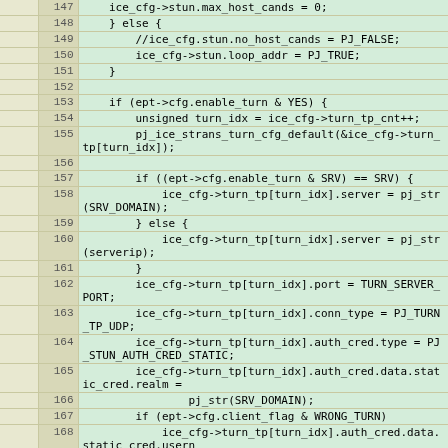[Figure (screenshot): Source code listing showing C code lines 147-168 in a green-highlighted code editor view with line numbers and annotation columns.]